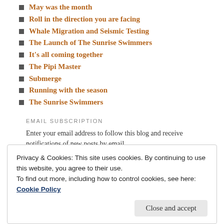May was the month
Roll in the direction you are facing
Whale Migration and Seismic Testing
The Launch of The Sunrise Swimmers
It's all coming together
The Pipi Master
Submerge
Running with the season
The Sunrise Swimmers
EMAIL SUBSCRIPTION
Enter your email address to follow this blog and receive notifications of new posts by email.
Privacy & Cookies: This site uses cookies. By continuing to use this website, you agree to their use.
To find out more, including how to control cookies, see here: Cookie Policy